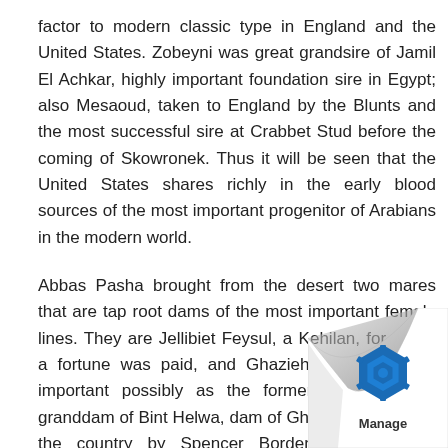factor to modern classic type in England and the United States. Zobeyni was great grandsire of Jamil El Achkar, highly important foundation sire in Egypt; also Mesaoud, taken to England by the Blunts and the most successful sire at Crabbet Stud before the coming of Skowronek. Thus it will be seen that the United States shares richly in the early blood sources of the most important progenitor of Arabians in the modern world.
Abbas Pasha brought from the desert two mares that are tap root dams of the most important female lines. They are Jellibiet Feysul, a Kehilan, for which a fortune was paid, and Ghazieh, a Seglawi, as important possibly as the former. She is great granddam of Bint Helwa, dam of Ghazala, brought to the country by Spencer Borden. Through her daughters Guemura and Gulnare, many Arabians share in this lin
The Bunts devoted their resources and many years of their lives bringing Arabians from the desert to Englan...
[Figure (logo): Page curl at bottom-right corner with a blue hexagonal gear/cog logo and the word 'Manage' below it]